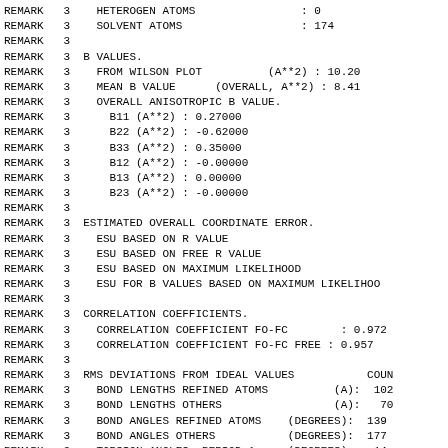REMARK   3    HETEROGEN ATOMS                : 0
REMARK   3    SOLVENT ATOMS                  : 174
REMARK   3
REMARK   3  B VALUES.
REMARK   3    FROM WILSON PLOT          (A**2) : 10.20
REMARK   3    MEAN B VALUE      (OVERALL, A**2) : 8.41
REMARK   3    OVERALL ANISOTROPIC B VALUE.
REMARK   3      B11 (A**2) : 0.27000
REMARK   3      B22 (A**2) : -0.62000
REMARK   3      B33 (A**2) : 0.35000
REMARK   3      B12 (A**2) : -0.00000
REMARK   3      B13 (A**2) : 0.00000
REMARK   3      B23 (A**2) : -0.00000
REMARK   3
REMARK   3  ESTIMATED OVERALL COORDINATE ERROR.
REMARK   3    ESU BASED ON R VALUE
REMARK   3    ESU BASED ON FREE R VALUE
REMARK   3    ESU BASED ON MAXIMUM LIKELIHOOD
REMARK   3    ESU FOR B VALUES BASED ON MAXIMUM LIKELIHOO
REMARK   3
REMARK   3  CORRELATION COEFFICIENTS.
REMARK   3    CORRELATION COEFFICIENT FO-FC        : 0.972
REMARK   3    CORRELATION COEFFICIENT FO-FC FREE : 0.957
REMARK   3
REMARK   3  RMS DEVIATIONS FROM IDEAL VALUES           COUN
REMARK   3    BOND LENGTHS REFINED ATOMS          (A):  102
REMARK   3    BOND LENGTHS OTHERS                 (A):   70
REMARK   3    BOND ANGLES REFINED ATOMS    (DEGREES):  139
REMARK   3    BOND ANGLES OTHERS           (DEGREES):  177
REMARK   3    TORSION ANGLES, PERIOD 1     (DEGREES):   14